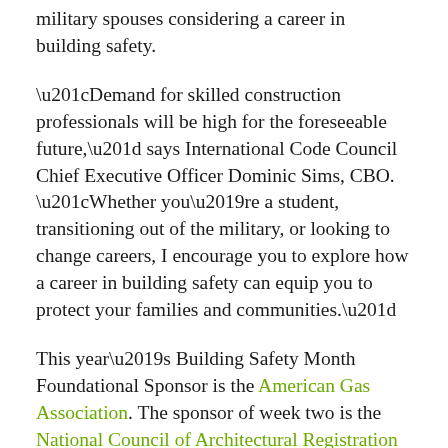military spouses considering a career in building safety.
“Demand for skilled construction professionals will be high for the foreseeable future,” says International Code Council Chief Executive Officer Dominic Sims, CBO. “Whether you’re a student, transitioning out of the military, or looking to change careers, I encourage you to explore how a career in building safety can equip you to protect your families and communities.”
This year’s Building Safety Month Foundational Sponsor is the American Gas Association. The sponsor of week two is the National Council of Architectural Registration Boards. To see the full list of sponsors, click here.
More information about Building Safety Month,